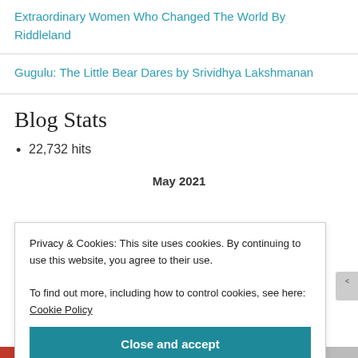Extraordinary Women Who Changed The World By Riddleland
Gugulu: The Little Bear Dares by Srividhya Lakshmanan
Blog Stats
22,732 hits
May 2021
Privacy & Cookies: This site uses cookies. By continuing to use this website, you agree to their use.
To find out more, including how to control cookies, see here: Cookie Policy
Close and accept